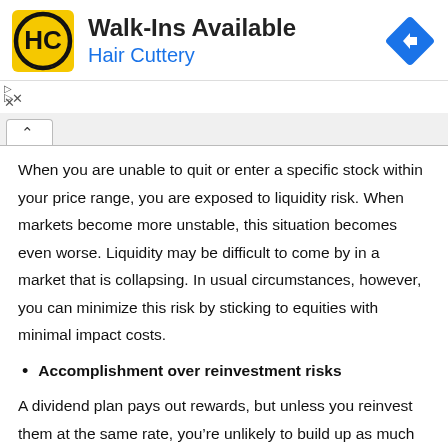[Figure (other): Advertisement banner for Hair Cuttery salon showing logo, 'Walk-Ins Available' text, blue Hair Cuttery brand name, and a blue diamond-shaped navigation arrow icon]
When you are unable to quit or enter a specific stock within your price range, you are exposed to liquidity risk. When markets become more unstable, this situation becomes even worse. Liquidity may be difficult to come by in a market that is collapsing. In usual circumstances, however, you can minimize this risk by sticking to equities with minimal impact costs.
Accomplishment over reinvestment risks
A dividend plan pays out rewards, but unless you reinvest them at the same rate, you're unlikely to build up as much money over time. A growth strategy, on the other hand,